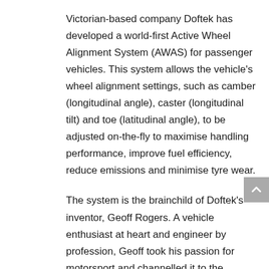Victorian-based company Doftek has developed a world-first Active Wheel Alignment System (AWAS) for passenger vehicles. This system allows the vehicle's wheel alignment settings, such as camber (longitudinal angle), caster (longitudinal tilt) and toe (latitudinal angle), to be adjusted on-the-fly to maximise handling performance, improve fuel efficiency, reduce emissions and minimise tyre wear.
The system is the brainchild of Doftek's inventor, Geoff Rogers. A vehicle enthusiast at heart and engineer by profession, Geoff took his passion for motorsport and channelled it to the development of a system to enhance driving enjoyment and reduce running costs of production vehicles by optimising a tyre's contact with the road.